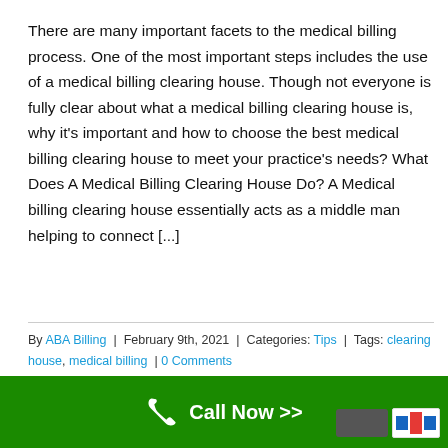There are many important facets to the medical billing process. One of the most important steps includes the use of a medical billing clearing house. Though not everyone is fully clear about what a medical billing clearing house is, why it's important and how to choose the best medical billing clearing house to meet your practice's needs? What Does A Medical Billing Clearing House Do? A Medical billing clearing house essentially acts as a middle man helping to connect [...]
By ABA Billing | February 9th, 2021 | Categories: Tips | Tags: clearing house, medical billing | 0 Comments
Read More >
[Figure (other): Green call-to-action bar at bottom of page with phone icon and 'Call Now >>' text in white]